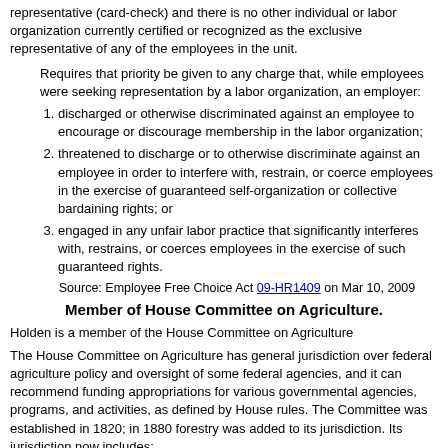representative (card-check) and there is no other individual or labor organization currently certified or recognized as the exclusive representative of any of the employees in the unit.
Requires that priority be given to any charge that, while employees were seeking representation by a labor organization, an employer:
discharged or otherwise discriminated against an employee to encourage or discourage membership in the labor organization;
threatened to discharge or to otherwise discriminate against an employee in order to interfere with, restrain, or coerce employees in the exercise of guaranteed self-organization or collective bardaining rights; or
engaged in any unfair labor practice that significantly interferes with, restrains, or coerces employees in the exercise of such guaranteed rights.
Source: Employee Free Choice Act 09-HR1409 on Mar 10, 2009
Member of House Committee on Agriculture.
Holden is a member of the House Committee on Agriculture
The House Committee on Agriculture has general jurisdiction over federal agriculture policy and oversight of some federal agencies, and it can recommend funding appropriations for various governmental agencies, programs, and activities, as defined by House rules. The Committee was established in 1820; in 1880 forestry was added to its jurisdiction. Its jurisdiction now includes:
Adulteration of seeds, insect pests, and protection of birds and animals in forest reserves.
Agriculture generally.
Agricultural and industrial chemistry.
Agricultural colleges and experiment stations.
Agricultural economics and research.
Agricultural education extension services.
Agricultural production and marketing, and stabilization of prices of agricultural products and commodities (not including distribution outside the United States).